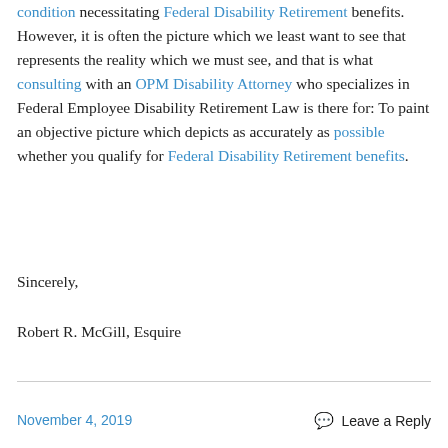condition necessitating Federal Disability Retirement benefits.  However, it is often the picture which we least want to see that represents the reality which we must see, and that is what consulting with an OPM Disability Attorney who specializes in Federal Employee Disability Retirement Law is there for: To paint an objective picture which depicts as accurately as possible whether you qualify for Federal Disability Retirement benefits.
Sincerely,
Robert R. McGill, Esquire
November 4, 2019   Leave a Reply